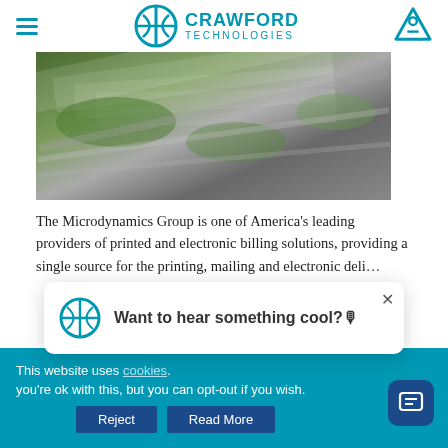Crawford Technologies
[Figure (photo): Close-up photo of stacked printed sheets on a printing press, showing colorful printed images including landscapes, in a commercial printing/mailing context.]
The Microdynamics Group is one of America's leading providers of printed and electronic billing solutions, providing a single source for the printing, mailing and electronic deli...
This website uses [cookies]. you're ok with this, but you can opt-out if you wish.
[Figure (screenshot): A popup notification widget with Crawford Technologies logo showing 'Want to hear something cool?' with a close (×) button.]
Reject  Read More